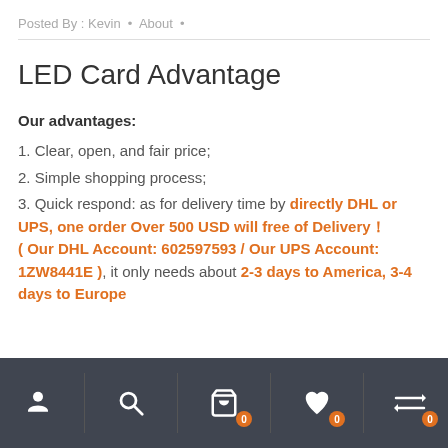Posted By : Kevin  •  About  •
LED Card Advantage
Our advantages:
1. Clear, open, and fair price;
2. Simple shopping process;
3. Quick respond: as for delivery time by directly DHL or UPS, one order Over 500 USD will free of Delivery！( Our DHL Account: 602597593 / Our UPS Account: 1ZW8441E ), it only needs about 2-3 days to America, 3-4 days to Europe
Navigation bar with user, search, cart (0), wishlist (0), compare (0) icons